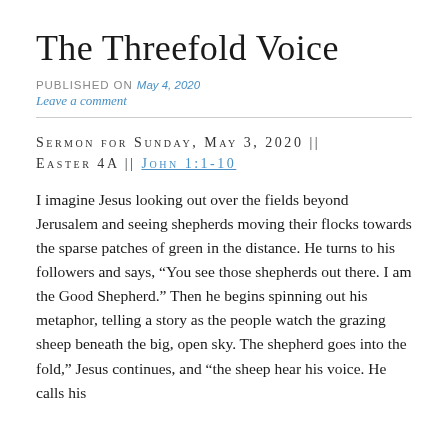The Threefold Voice
PUBLISHED ON May 4, 2020
Leave a comment
SERMON FOR SUNDAY, MAY 3, 2020 || EASTER 4A || JOHN 1:1-10
I imagine Jesus looking out over the fields beyond Jerusalem and seeing shepherds moving their flocks towards the sparse patches of green in the distance. He turns to his followers and says, “You see those shepherds out there. I am the Good Shepherd.” Then he begins spinning out his metaphor, telling a story as the people watch the grazing sheep beneath the big, open sky. The shepherd goes into the fold,” Jesus continues, and “the sheep hear his voice. He calls his